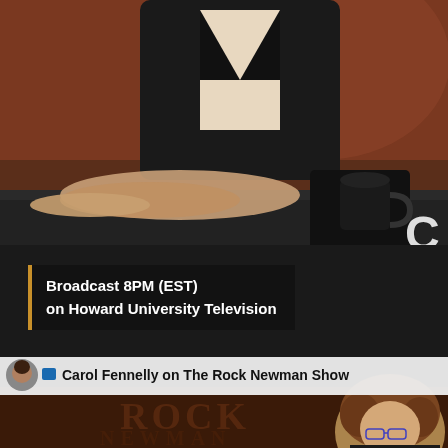[Figure (photo): Close-up of a person gesturing with hands on a TV talk show set, wearing a black blazer over white top, with a dark mug visible. Letter 'C' visible in lower right corner overlay.]
Broadcast 8PM (EST)
on Howard University Television
[Figure (photo): Bottom section showing Rock Newman Show branding with a woman with curly hair and glasses visible in the lower right, and a small avatar of a man in the top left.]
Carol Fennelly on The Rock Newman Show